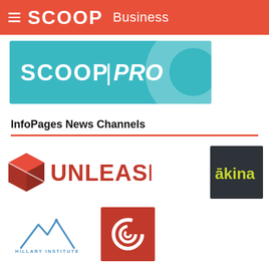SCOOP Business
[Figure (logo): Scoop Pro banner with teal background]
InfoPages News Channels
[Figure (logo): Unleashed logo - red cube icon with UNLEASHED text in red]
[Figure (logo): Akina logo - dark background with yellow-green text]
[Figure (logo): Hillary Institute logo - mountain peaks icon with text]
[Figure (logo): Spiral logo - red background with white spiral icon]